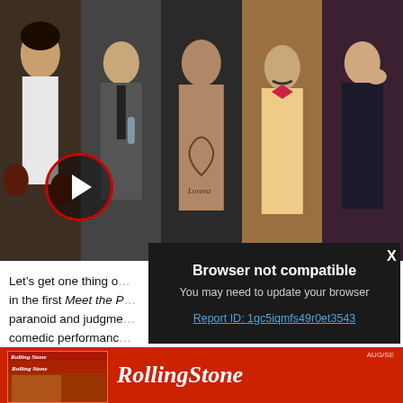[Figure (photo): Collage of five movie stills showing actors in various roles, with a red-bordered play button overlay on the left side]
Let’s get one thing o… in the first Meet the P… paranoid and judgme… comedic performanc…
[Figure (screenshot): Browser not compatible overlay dialog on dark background. Text: 'Browser not compatible', 'You may need to update your browser', 'Report ID: 1gc5iqmfs49r0et3543' (link). X close button top right.]
[Figure (photo): Rolling Stone magazine advertisement banner with red background showing the Rolling Stone logo in white italic script and a small magazine cover thumbnail on the left]